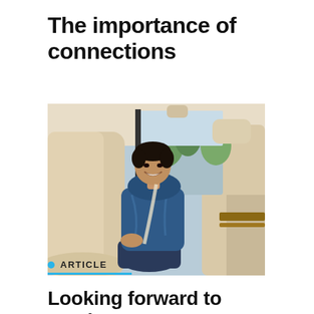The importance of connections
[Figure (photo): A person sitting in the back seat of a car with cream/beige leather interior, smiling at the camera, wearing a blue puffer jacket. Trees and daylight visible through the car window.]
ARTICLE
Looking forward to moving